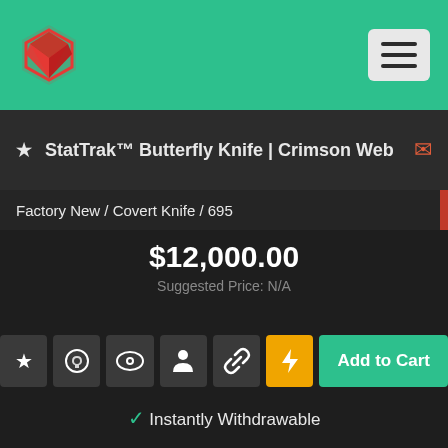StatTrak™ Butterfly Knife | Crimson Web
Factory New / Covert Knife / 695
$12,000.00
Suggested Price: N/A
Instantly Withdrawable